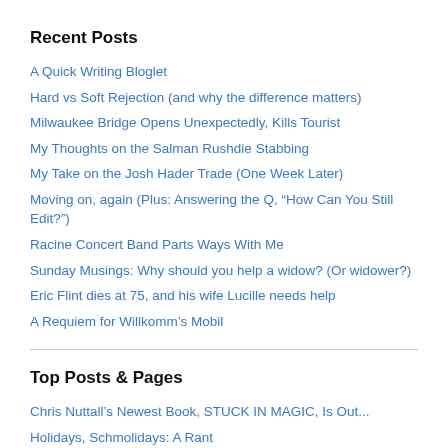Recent Posts
A Quick Writing Bloglet
Hard vs Soft Rejection (and why the difference matters)
Milwaukee Bridge Opens Unexpectedly, Kills Tourist
My Thoughts on the Salman Rushdie Stabbing
My Take on the Josh Hader Trade (One Week Later)
Moving on, again (Plus: Answering the Q, “How Can You Still Edit?”)
Racine Concert Band Parts Ways With Me
Sunday Musings: Why should you help a widow? (Or widower?)
Eric Flint dies at 75, and his wife Lucille needs help
A Requiem for Willkomm’s Mobil
Top Posts & Pages
Chris Nuttall’s Newest Book, STUCK IN MAGIC, Is Out...
Holidays, Schmolidays: A Rant
Sunday Musings: The Empathy Gap